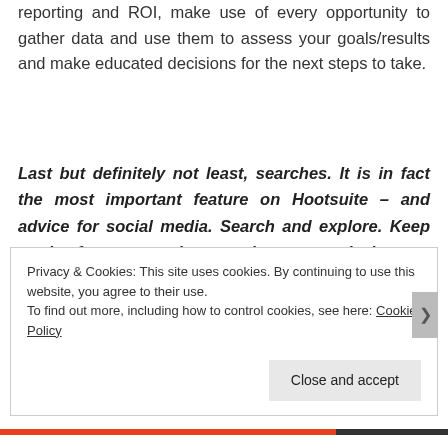reporting and ROI, make use of every opportunity to gather data and use them to assess your goals/results and make educated decisions for the next steps to take.
Last but definitely not least, searches. It is in fact the most important feature on Hootsuite – and advice for social media. Search and explore. Keep track of tags, mentions, topics or people in your circles.
Privacy & Cookies: This site uses cookies. By continuing to use this website, you agree to their use.
To find out more, including how to control cookies, see here: Cookie Policy
Close and accept